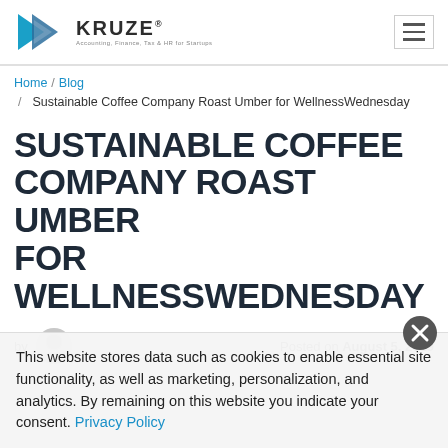[Figure (logo): Kruze Consulting logo with blue/teal arrow icon and text 'KRUZE Accounting, Finance, Tax & HR for Startups']
Home / Blog / Sustainable Coffee Company Roast Umber for WellnessWednesday
SUSTAINABLE COFFEE COMPANY ROAST UMBER FOR WELLNESSWEDNESDAY
by [author avatar] Posted on August 5, 2019
This website stores data such as cookies to enable essential site functionality, as well as marketing, personalization, and analytics. By remaining on this website you indicate your consent. Privacy Policy